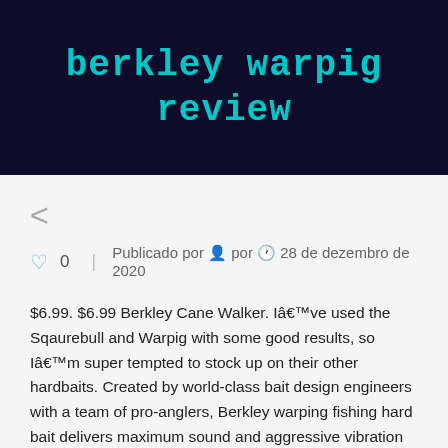berkley warpig review
< (navigation back arrow)
♡ 0  |  Publicado por 👤 por 🕐 28 de dezembro de 2020
$6.99. $6.99 Berkley Cane Walker. Iâ€™ve used the Sqaurebull and Warpig with some good results, so Iâ€™m super tempted to stock up on their other hardbaits. Created by world-class bait design engineers with a team of pro-anglers, Berkley warping fishing hard bait delivers maximum sound and aggressive vibration that fish can't resist. It does awesome in brush and rock. The Berkley Warpig is a truly unique lipless crank. My Father and I fished the 2015 Berkley tournament on Lake Fork this year and we both